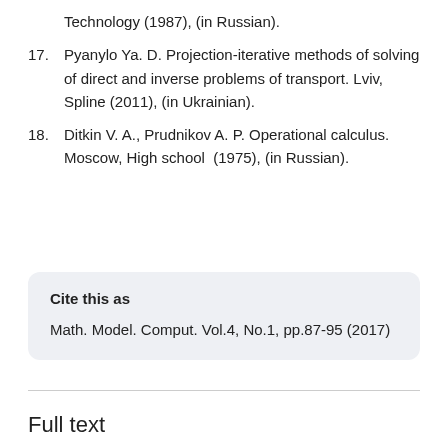Technology (1987), (in Russian).
17. Pyanylo Ya. D. Projection-iterative methods of solving of direct and inverse problems of transport. Lviv, Spline (2011), (in Ukrainian).
18. Ditkin V. A., Prudnikov A. P. Operational calculus. Moscow, High school (1975), (in Russian).
Cite this as
Math. Model. Comput. Vol.4, No.1, pp.87-95 (2017)
Full text